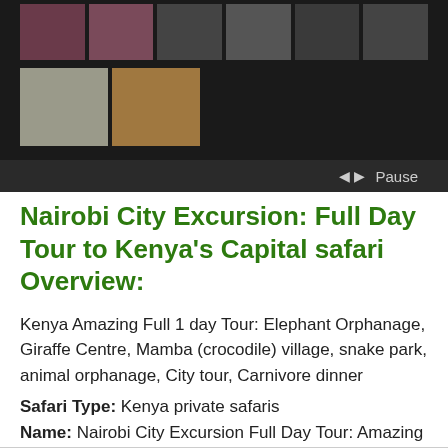[Figure (screenshot): Dark photo gallery strip showing thumbnail images of wildlife and nature. Top row has multiple small thumbnails including purple-toned and dark images. Bottom row has two larger thumbnails showing what appear to be crocodiles or reptiles. Below the thumbnails is a dark control bar with left/right navigation arrows and a Pause button on the right.]
Nairobi City Excursion: Full Day Tour to Kenya's Capital safari Overview:
Kenya Amazing Full 1 day Tour: Elephant Orphanage, Giraffe Centre, Mamba (crocodile) village, snake park, animal orphanage, City tour, Carnivore dinner
Safari Type: Kenya private safaris
Name: Nairobi City Excursion Full Day Tour: Amazing 1 day Kenya's Capital safari